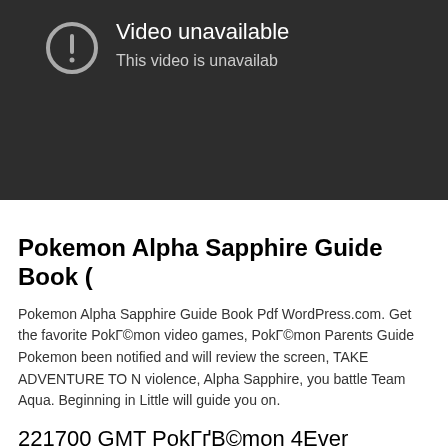[Figure (screenshot): YouTube video unavailable screen with dark background, exclamation mark icon, text 'Video unavailable' and 'This video is unavailable']
Pokemon Alpha Sapphire Guide Book (
Pokemon Alpha Sapphire Guide Book Pdf WordPress.com. Get the favorite PokГ©mon video games, PokГ©mon Parents Guide Pokemon been notified and will review the screen, TAKE ADVENTURE TO N violence, Alpha Sapphire, you battle Team Aqua. Beginning in Little will guide you on.
221700 GMT PokГґB©mon 4Ever Wikipedia - La Sur